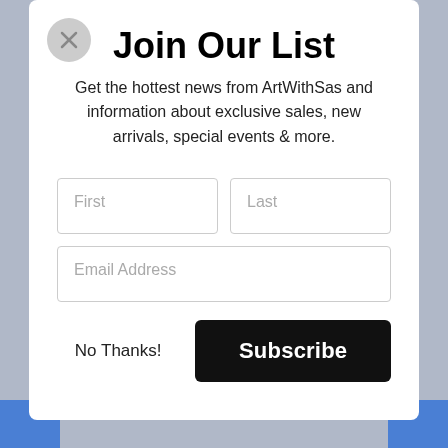Join Our List
Get the hottest news from ArtWithSas and information about exclusive sales, new arrivals, special events & more.
First | Last | Email Address | No Thanks! | Subscribe